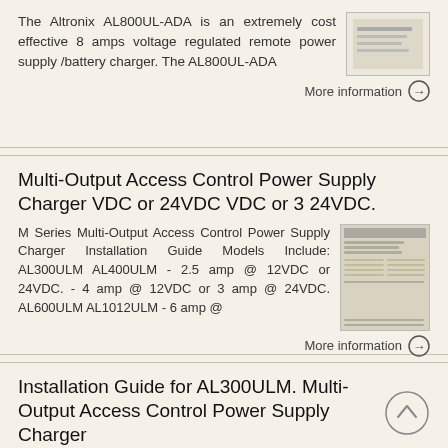The Altronix AL800UL-ADA is an extremely cost effective 8 amps voltage regulated remote power supply /battery charger. The AL800UL-ADA
More information →
Multi-Output Access Control Power Supply Charger VDC or 24VDC VDC or 3 24VDC.
M Series Multi-Output Access Control Power Supply Charger Installation Guide Models Include: AL300ULM AL400ULM - 2.5 amp @ 12VDC or 24VDC. - 4 amp @ 12VDC or 3 amp @ 24VDC. AL600ULM AL1012ULM - 6 amp @
More information →
Installation Guide for AL300ULM. Multi-Output Access Control Power Supply Charger